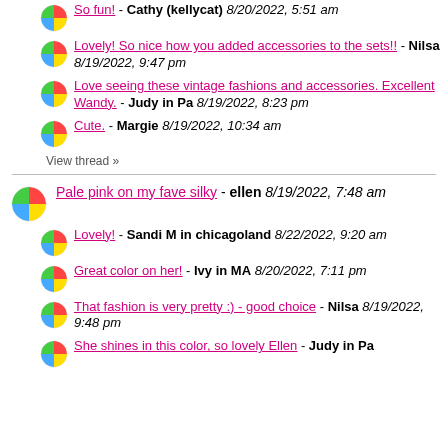So fun! - Cathy (kellycat) 8/20/2022, 5:51 am
Lovely! So nice how you added accessories to the sets!! - Nilsa 8/19/2022, 9:47 pm
Love seeing these vintage fashions and accessories. Excellent Wandy. - Judy in Pa 8/19/2022, 8:23 pm
Cute. - Margie 8/19/2022, 10:34 am
View thread »
Pale pink on my fave silky - ellen 8/19/2022, 7:48 am
Lovely! - Sandi M in chicagoland 8/22/2022, 9:20 am
Great color on her! - Ivy in MA 8/20/2022, 7:11 pm
That fashion is very pretty :) - good choice - Nilsa 8/19/2022, 9:48 pm
She shines in this color, so lovely Ellen - Judy in Pa